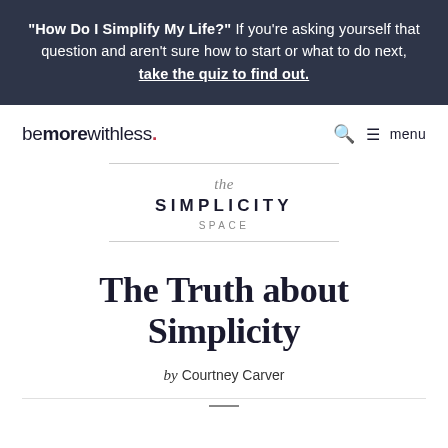"How Do I Simplify My Life?" If you're asking yourself that question and aren't sure how to start or what to do next, take the quiz to find out.
[Figure (logo): bemorewithless. logo with red dot, and navigation icons (search and menu)]
[Figure (logo): The Simplicity Space logo with decorative horizontal rules above and below]
The Truth about Simplicity
by Courtney Carver